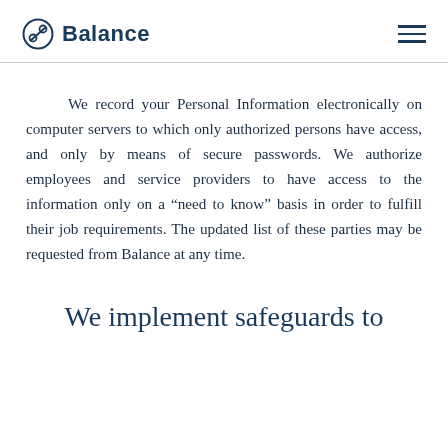Balance
We record your Personal Information electronically on computer servers to which only authorized persons have access, and only by means of secure passwords. We authorize employees and service providers to have access to the information only on a “need to know” basis in order to fulfill their job requirements. The updated list of these parties may be requested from Balance at any time.
We implement safeguards to